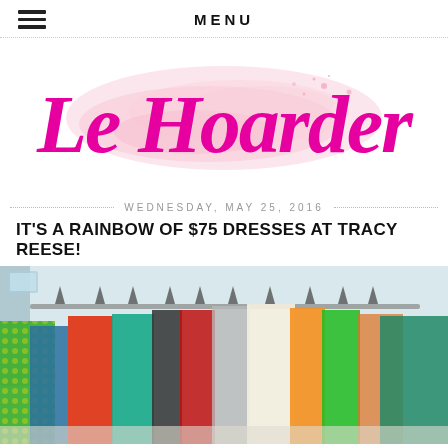MENU
[Figure (logo): Le Hoarder blog logo in magenta/pink script font with pink watercolor splash background]
WEDNESDAY, MAY 25, 2016
IT'S A RAINBOW OF $75 DRESSES AT TRACY REESE!
[Figure (photo): Colorful dresses hanging on a clothing rack in a retail or pop-up shop setting]